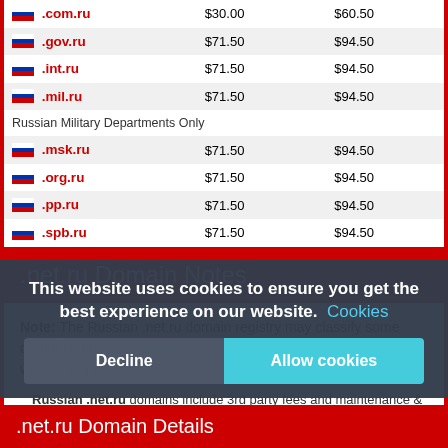| Domain | Register | Renew |
| --- | --- | --- |
| .com.ru | $30.00 | $60.50 |
| .gov.ru | $71.50 | $94.50 |
| .int.ru | $71.50 | $94.50 |
| .mil.ru | $71.50 | $94.50 |
| Russian Military Departments Only |  |  |
| .msk.ru | $71.50 | $94.50 |
| .org.ru | $71.50 | $94.50 |
| .pp.ru | $71.50 | $94.50 |
| .spb.ru | $71.50 | $94.50 |
.net.ru Domain Notes
Note: The Russian .net.ru domain registry may classify some domain names as premium domain names if so classfied they will command a higher price.
Russian .net.ru domains include 3rd party fees and maintenance & during the registration period. If you wish to cancel your subscription prior to the end of the registration period you are free do do so without charge. We do not charge an administration fee with Russian .net.ru domains or any other Russian domain.
This website uses cookies to ensure you get the best experience on our website. Cookies
.net.ru Domain Details